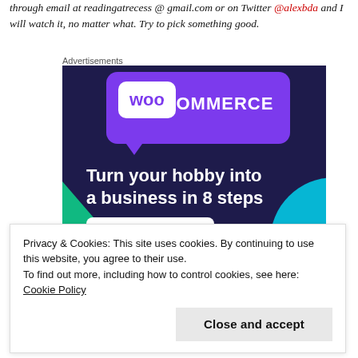through email at readingatrecess @ gmail.com or on Twitter @alexbda and I will watch it, no matter what. Try to pick something good.
Advertisements
[Figure (illustration): WooCommerce advertisement banner with dark purple/navy background, purple speech-bubble logo card, green triangle shape on left, cyan circle on right. Text reads 'woo COMMERCE — Turn your hobby into a business in 8 steps' with a 'Start a new store' button.]
Privacy & Cookies: This site uses cookies. By continuing to use this website, you agree to their use.
To find out more, including how to control cookies, see here: Cookie Policy
Close and accept